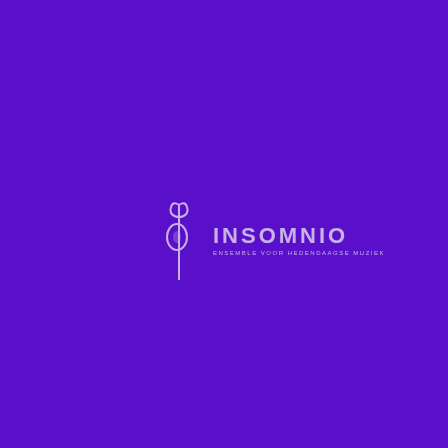[Figure (logo): Insomnio logo on purple background. The logo consists of a stylized music note/needle symbol on the left and the text INSOMNIO with tagline ENSEMBLE VOOR HEDENDAAGSE MUZIEK on the right, rendered in light lavender/purple color against a deep purple background.]